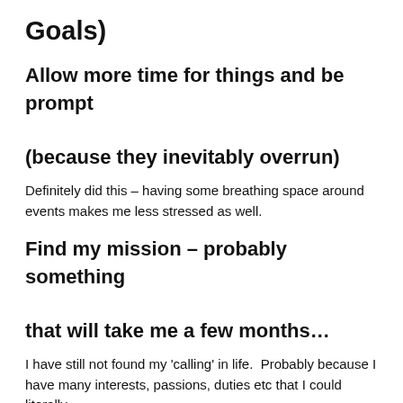Goals)
Allow more time for things and be prompt (because they inevitably overrun)
Definitely did this – having some breathing space around events makes me less stressed as well.
Find my mission – probably something that will take me a few months…
I have still not found my 'calling' in life.  Probably because I have many interests, passions, duties etc that I could literally...